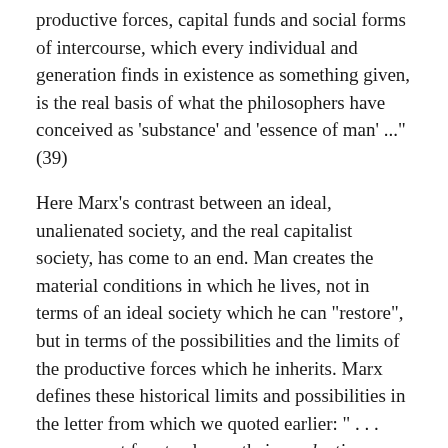productive forces, capital funds and social forms of intercourse, which every individual and generation finds in existence as something given, is the real basis of what the philosophers have conceived as 'substance' and 'essence of man' ..."(39)
Here Marx's contrast between an ideal, unalienated society, and the real capitalist society, has come to an end. Man creates the material conditions in which he lives, not in terms of an ideal society which he can "restore", but in terms of the possibilities and the limits of the productive forces which he inherits. Marx defines these historical limits and possibilities in the letter from which we quoted earlier: " . . . men are not free to choose their productive forces – which are the basis of all their history – for every productive force is an acquired force, the product of former activity. The